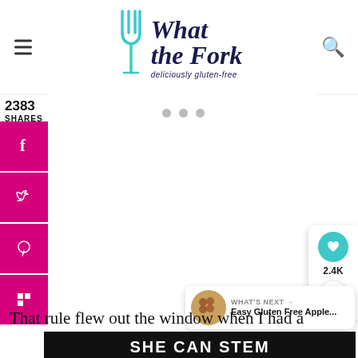[Figure (logo): What the Fork blog logo with fork icon and tagline 'deliciously gluten-free']
2383
SHARES
[Figure (infographic): Social share sidebar with Facebook, Twitter, Pinterest, Flipboard buttons in magenta]
[Figure (infographic): Three grey dots (carousel indicator) in white content area]
[Figure (infographic): Floating right panel with heart button (teal), 2.4K count, and share button]
WHAT'S NEXT → Easy Gluten Free Apple...
That rule flew out the window when I had a
[Figure (screenshot): SHE CAN STEM advertisement banner in dark background with white bold text]